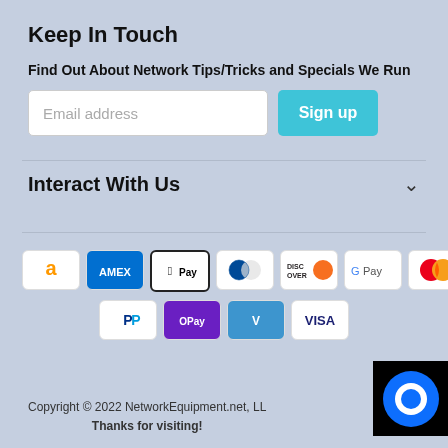Keep In Touch
Find Out About Network Tips/Tricks and Specials We Run
[Figure (screenshot): Email address input field with Sign up button]
Interact With Us
[Figure (infographic): Payment method icons: Amazon, Amex, Apple Pay, Diners Club, Discover, Google Pay, Mastercard, PayPal, OPay, Venmo, Visa]
Copyright © 2022 NetworkEquipment.net, LL Thanks for visiting!